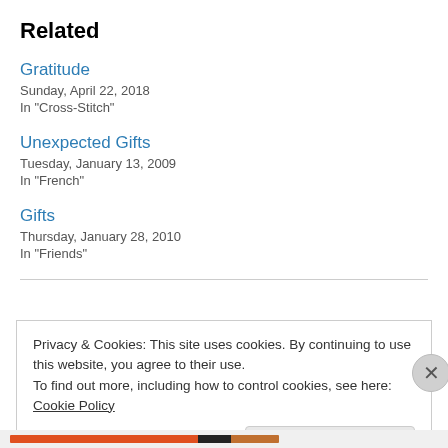Related
Gratitude
Sunday, April 22, 2018
In "Cross-Stitch"
Unexpected Gifts
Tuesday, January 13, 2009
In "French"
Gifts
Thursday, January 28, 2010
In "Friends"
Privacy & Cookies: This site uses cookies. By continuing to use this website, you agree to their use.
To find out more, including how to control cookies, see here: Cookie Policy
Close and accept